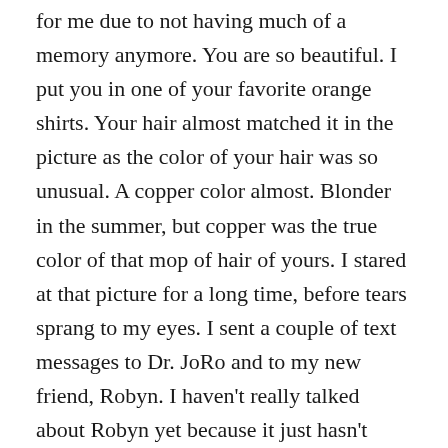for me due to not having much of a memory anymore. You are so beautiful. I put you in one of your favorite orange shirts. Your hair almost matched it in the picture as the color of your hair was so unusual. A copper color almost. Blonder in the summer, but copper was the true color of that mop of hair of yours. I stared at that picture for a long time, before tears sprang to my eyes. I sent a couple of text messages to Dr. JoRo and to my new friend, Robyn. I haven't really talked about Robyn yet because it just hasn't been the right time. It's only been within the last few weeks that we have started to get to know each other. Even though we have more in common than I would like. We both have dead babies thanks to that fuckwad, Neuroblastoma. We met at the NB conference in Austin, Texas. We went out afterwords as a group and I quietly sat back and watched this girl who continued to crack up the entire table with her witty comebacks, smart mouth and silent gun shooting